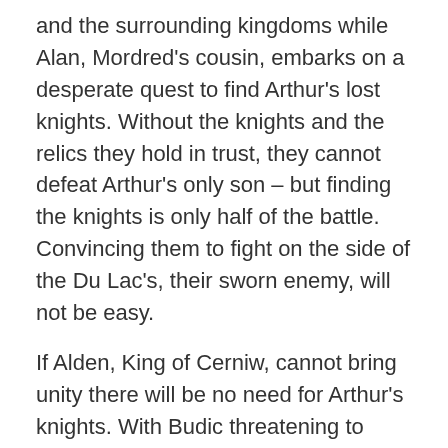and the surrounding kingdoms while Alan, Mordred's cousin, embarks on a desperate quest to find Arthur's lost knights. Without the knights and the relics they hold in trust, they cannot defeat Arthur's only son – but finding the knights is only half of the battle. Convincing them to fight on the side of the Du Lac's, their sworn enemy, will not be easy.
If Alden, King of Cerniw, cannot bring unity there will be no need for Arthur's knights. With Budic threatening to invade Alden's Kingdom, Merton putting love before duty, and Garren disappearing to goodness knows where, what hope does Alden have? If Alden cannot get his House in order, Mordred will destroy them all.
Available on August 28, 2018, through Amazon US, Amazon UK, and Amazon CA.